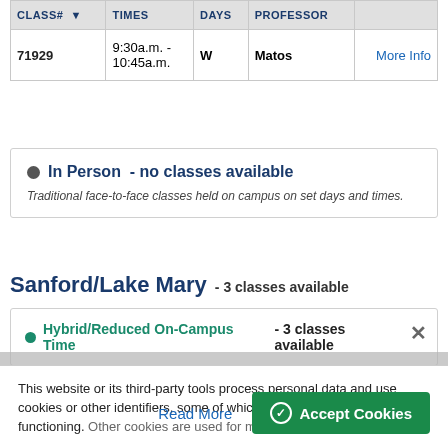| CLASS# | ↓ | TIMES | DAYS | PROFESSOR |  |
| --- | --- | --- | --- | --- | --- |
| 71929 |  | 9:30a.m. - 10:45a.m. | W | Matos | More Info |
● In Person - no classes available
Traditional face-to-face classes held on campus on set days and times.
Sanford/Lake Mary - 3 classes available
● Hybrid/Reduced On-Campus Time - 3 classes available
This website or its third-party tools process personal data and use cookies or other identifiers, some of which are necessary for its functioning. Other cookies are used for marketing and other
Read More
✓ Accept Cookies